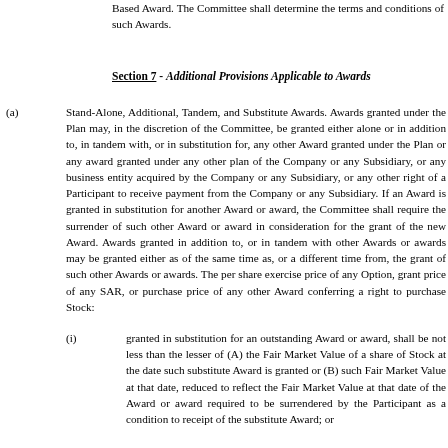Based Award. The Committee shall determine the terms and conditions of such Awards.
Section 7 - Additional Provisions Applicable to Awards
(a) Stand-Alone, Additional, Tandem, and Substitute Awards. Awards granted under the Plan may, in the discretion of the Committee, be granted either alone or in addition to, in tandem with, or in substitution for, any other Award granted under the Plan or any award granted under any other plan of the Company or any Subsidiary, or any business entity acquired by the Company or any Subsidiary, or any other right of a Participant to receive payment from the Company or any Subsidiary. If an Award is granted in substitution for another Award or award, the Committee shall require the surrender of such other Award or award in consideration for the grant of the new Award. Awards granted in addition to, or in tandem with other Awards or awards may be granted either as of the same time as, or a different time from, the grant of such other Awards or awards. The per share exercise price of any Option, grant price of any SAR, or purchase price of any other Award conferring a right to purchase Stock:
(i) granted in substitution for an outstanding Award or award, shall be not less than the lesser of (A) the Fair Market Value of a share of Stock at the date such substitute Award is granted or (B) such Fair Market Value at that date, reduced to reflect the Fair Market Value at that date of the Award or award required to be surrendered by the Participant as a condition to receipt of the substitute Award; or